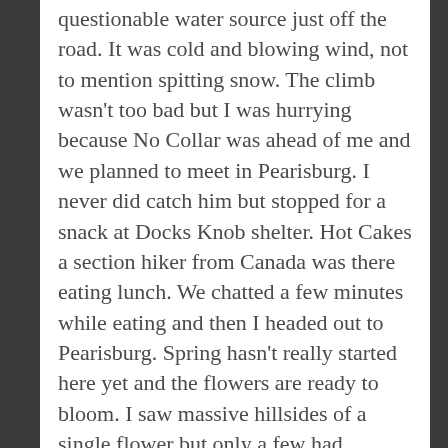questionable water source just off the road. It was cold and blowing wind, not to mention spitting snow. The climb wasn't too bad but I was hurrying because No Collar was ahead of me and we planned to meet in Pearisburg. I never did catch him but stopped for a snack at Docks Knob shelter. Hot Cakes a section hiker from Canada was there eating lunch. We chatted a few minutes while eating and then I headed out to Pearisburg. Spring hasn't really started here yet and the flowers are ready to bloom. I saw massive hillsides of a single flower but only a few had bloomed. It was beautiful! The trail